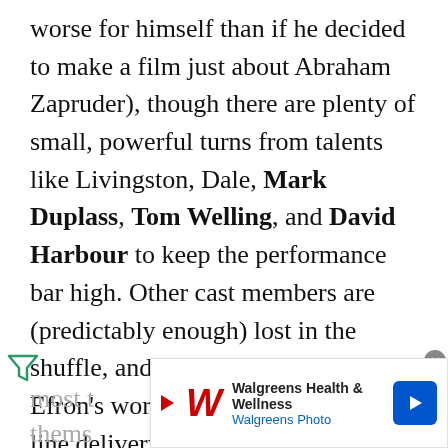worse for himself than if he decided to make a film just about Abraham Zapruder), though there are plenty of small, powerful turns from talents like Livingston, Dale, Mark Duplass, Tom Welling, and David Harbour to keep the performance bar high. Other cast members are (predictably enough) lost in the shuffle, and the early portion of Zac Efron's work is marked by hammy line delivery and a creeping sense of his being woefully miscast in the role. Even Marcia Gay Harden doesn't get to do much, beyond mournfully huffing from time to time, something
most t
thems
[Figure (other): Walgreens Health & Wellness advertisement banner with Walgreens W logo, play button, text 'Walgreens Health & Wellness' and 'Walgreens Photo', and a blue diamond-shaped arrow icon. Close button (x in circle) in top right corner. Filter/funnel icon in bottom left corner.]